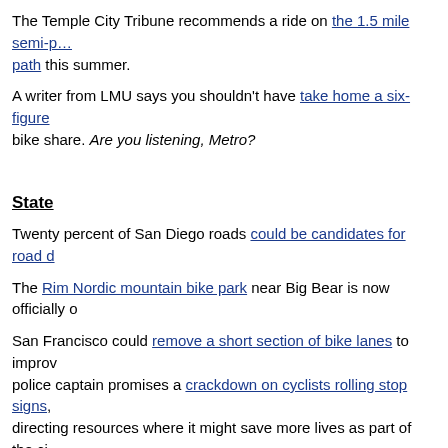The Temple City Tribune recommends a ride on the 1.5 mile semi-path this summer.
A writer from LMU says you shouldn't have take home a six-figure bike share. Are you listening, Metro?
State
Twenty percent of San Diego roads could be candidates for road d
The Rim Nordic mountain bike park near Big Bear is now officially o
San Francisco could remove a short section of bike lanes to improv police captain promises a crackdown on cyclists rolling stop signs, directing resources where it might save more lives as part of the ci
A letter writer on a Marin website says dump the Prius and get a bi
The Sacramento Bee says texting behind the wheel is dangerous, Governor Brown twice vetoed bills to toughen the law against it.